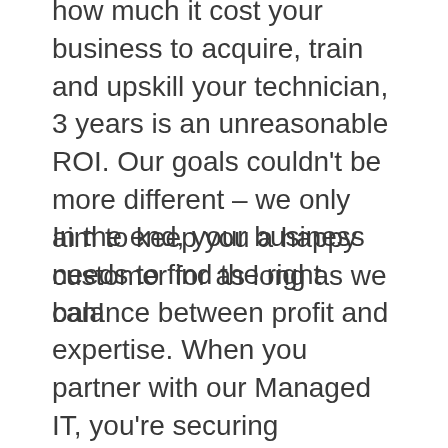how much it cost your business to acquire, train and upskill your technician, 3 years is an unreasonable ROI. Our goals couldn't be more different – we only aim to keep you a happy customer for as long as we can!
In the end, your business needs to find the right balance between profit and expertise. When you partner with our Managed IT, you're securing availability, ever-increasing expertise and commitment to your success. We work closely with you to provide the very best support and protect you costly disasters, taking preemptive action to keep you